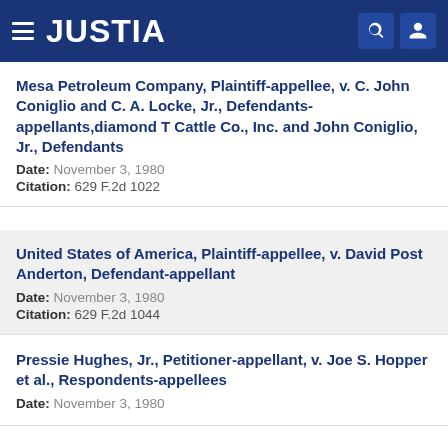JUSTIA
Mesa Petroleum Company, Plaintiff-appellee, v. C. John Coniglio and C. A. Locke, Jr., Defendants-appellants,diamond T Cattle Co., Inc. and John Coniglio, Jr., Defendants
Date: November 3, 1980
Citation: 629 F.2d 1022
United States of America, Plaintiff-appellee, v. David Post Anderton, Defendant-appellant
Date: November 3, 1980
Citation: 629 F.2d 1044
Pressie Hughes, Jr., Petitioner-appellant, v. Joe S. Hopper et al., Respondents-appellees
Date: November 3, 1980